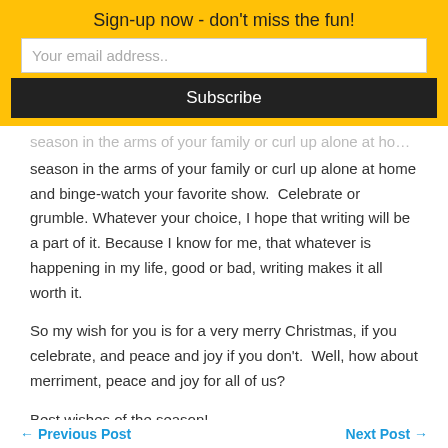Sign-up now - don't miss the fun!
Your email address..
Subscribe
season in the arms of your family or curl up alone at home and binge-watch your favorite show.  Celebrate or grumble. Whatever your choice, I hope that writing will be a part of it. Because I know for me, that whatever is happening in my life, good or bad, writing makes it all worth it.
So my wish for you is for a very merry Christmas, if you celebrate, and peace and joy if you don't.  Well, how about merriment, peace and joy for all of us?
Best wishes of the season!
← Previous Post    Next Post →